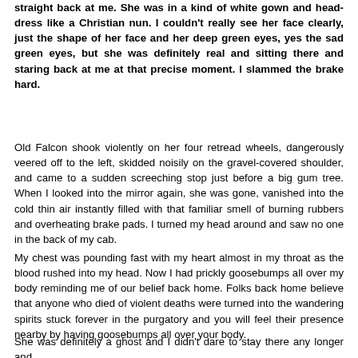straight back at me. She was in a kind of white gown and head-dress like a Christian nun. I couldn't really see her face clearly, just the shape of her face and her deep green eyes, yes the sad green eyes, but she was definitely real and sitting there and staring back at me at that precise moment. I slammed the brake hard.
Old Falcon shook violently on her four retread wheels, dangerously veered off to the left, skidded noisily on the gravel-covered shoulder, and came to a sudden screeching stop just before a big gum tree. When I looked into the mirror again, she was gone, vanished into the cold thin air instantly filled with that familiar smell of burning rubbers and overheating brake pads. I turned my head around and saw no one in the back of my cab.
My chest was pounding fast with my heart almost in my throat as the blood rushed into my head. Now I had prickly goosebumps all over my body reminding me of our belief back home. Folks back home believe that anyone who died of violent deaths were turned into the wandering spirits stuck forever in the purgatory and you will feel their presence nearby by having goosebumps all over your body.
She was definitely a ghost and I didn't dare to stay there any longer and